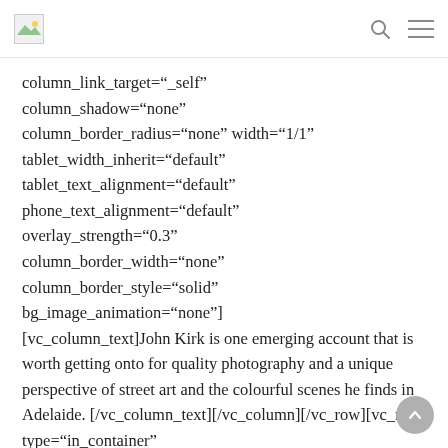[logo] [search icon] [menu icon]
column_link_target="_self" column_shadow="none" column_border_radius="none" width="1/1" tablet_width_inherit="default" tablet_text_alignment="default" phone_text_alignment="default" overlay_strength="0.3" column_border_width="none" column_border_style="solid" bg_image_animation="none"] [vc_column_text]John Kirk is one emerging account that is worth getting onto for quality photography and a unique perspective of street art and the colourful scenes he finds in Adelaide. [/vc_column_text][/vc_column][/vc_row][vc_row type="in_container"